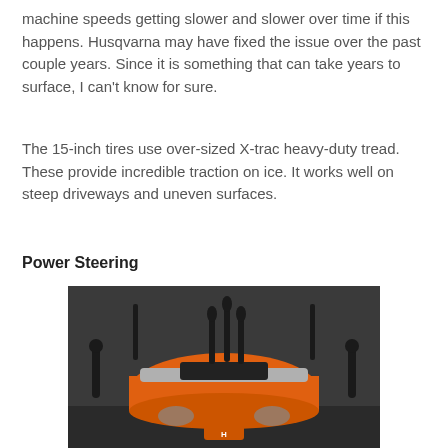machine speeds getting slower and slower over time if this happens. Husqvarna may have fixed the issue over the past couple years. Since it is something that can take years to surface, I can't know for sure.
The 15-inch tires use over-sized X-trac heavy-duty tread. These provide incredible traction on ice. It works well on steep driveways and uneven surfaces.
Power Steering
[Figure (photo): Front view of a Husqvarna snow blower or outdoor power machine, showing orange body with multiple control levers/handles on top, dark gray background, Husqvarna logo visible at bottom center.]